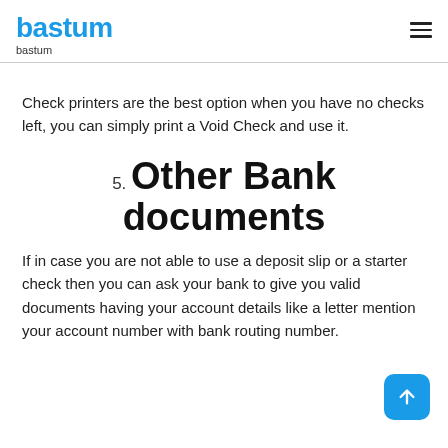bastum
bastum
Check printers are the best option when you have no checks left, you can simply print a Void Check and use it.
5. Other Bank documents
If in case you are not able to use a deposit slip or a starter check then you can ask your bank to give you valid documents having your account details like a letter mention your account number with bank routing number.